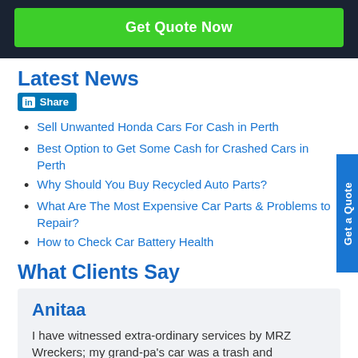[Figure (other): Dark navy banner with a green 'Get Quote Now' button]
Latest News
[Figure (other): LinkedIn Share button]
Sell Unwanted Honda Cars For Cash in Perth
Best Option to Get Some Cash for Crashed Cars in Perth
Why Should You Buy Recycled Auto Parts?
What Are The Most Expensive Car Parts & Problems to Repair?
How to Check Car Battery Health
What Clients Say
Anitaa
I have witnessed extra-ordinary services by MRZ Wreckers; my grand-pa's car was a trash and